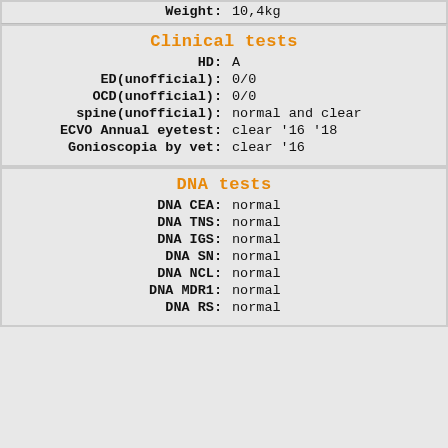| Weight: | 10,4kg |
Clinical tests
| HD: | A |
| ED(unofficial): | 0/0 |
| OCD(unofficial): | 0/0 |
| spine(unofficial): | normal and clear |
| ECVO Annual eyetest: | clear '16 '18 |
| Gonioscopia by vet: | clear '16 |
DNA tests
| DNA CEA: | normal |
| DNA TNS: | normal |
| DNA IGS: | normal |
| DNA SN: | normal |
| DNA NCL: | normal |
| DNA MDR1: | normal |
| DNA RS: | normal |